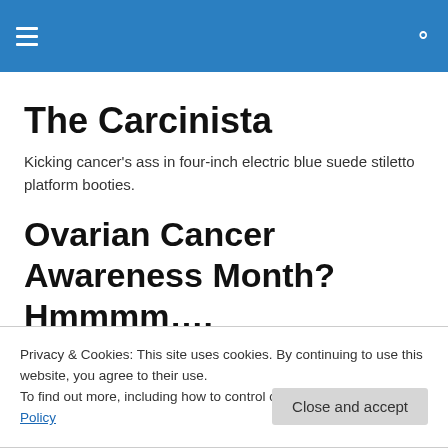The Carcinista – navigation header
The Carcinista
Kicking cancer's ass in four-inch electric blue suede stiletto platform booties.
Ovarian Cancer Awareness Month? Hmmmm….
Privacy & Cookies: This site uses cookies. By continuing to use this website, you agree to their use.
To find out more, including how to control cookies, see here: Cookie Policy